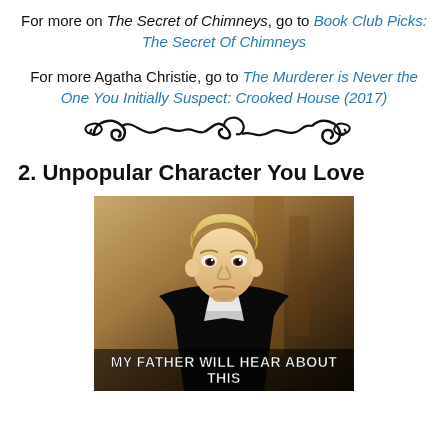For more on The Secret of Chimneys, go to Book Club Picks: The Secret Of Chimneys
For more Agatha Christie, go to The Murderer is Never the One You Initially Suspect: Crooked House (2017)
[Figure (illustration): Decorative scrollwork divider, black curling flourish design]
2. Unpopular Character You Love
[Figure (photo): Meme photo of a blonde boy in dark school robes (Draco Malfoy from Harry Potter) with caption 'MY FATHER WILL HEAR ABOUT THIS']